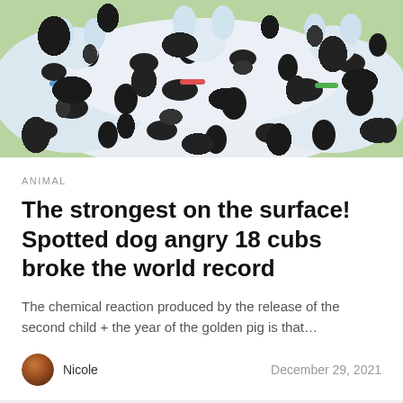[Figure (photo): Group of dalmatian dogs with black spots, clustered together, some wearing colorful collars, green grass in background]
ANIMAL
The strongest on the surface! Spotted dog angry 18 cubs broke the world record
The chemical reaction produced by the release of the second child + the year of the golden pig is that…
Nicole    December 29, 2021
[Figure (photo): Bear cub face looking at camera with green background]